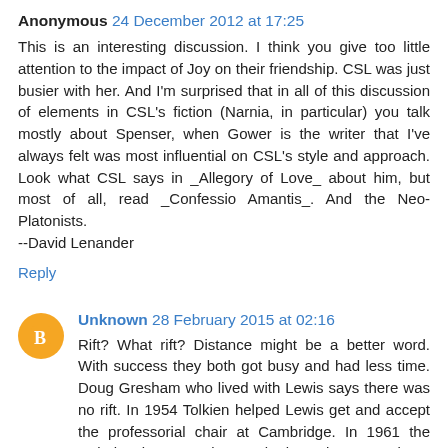Anonymous 24 December 2012 at 17:25
This is an interesting discussion. I think you give too little attention to the impact of Joy on their friendship. CSL was just busier with her. And I'm surprised that in all of this discussion of elements in CSL's fiction (Narnia, in particular) you talk mostly about Spenser, when Gower is the writer that I've always felt was most influential on CSL's style and approach. Look what CSL says in _Allegory of Love_ about him, but most of all, read _Confessio Amantis_. And the Neo-Platonists.
--David Lenander
Reply
Unknown 28 February 2015 at 02:16
Rift? What rift? Distance might be a better word. With success they both got busy and had less time. Doug Gresham who lived with Lewis says there was no rift. In 1954 Tolkien helped Lewis get and accept the professorial chair at Cambridge. In 1961 the Nobel Prize committee asked Lewis to nominate someone for the Prize in literature.